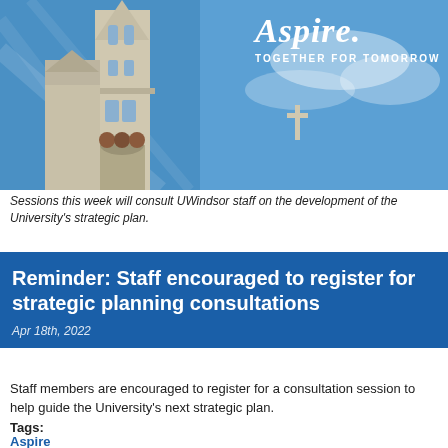[Figure (photo): University of Windsor church/cathedral tower against blue sky with 'Aspire. Together for Tomorrow' text overlay]
Sessions this week will consult UWindsor staff on the development of the University's strategic plan.
Reminder: Staff encouraged to register for strategic planning consultations
Apr 18th, 2022
Staff members are encouraged to register for a consultation session to help guide the University's next strategic plan.
Tags:
Aspire